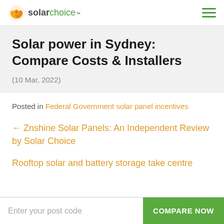Solar Choice
Solar power in Sydney: Compare Costs & Installers
(10 Mar, 2022)
Posted in Federal Government solar panel incentives
← Znshine Solar Panels: An Independent Review by Solar Choice
Rooftop solar and battery storage take centre
Enter your post code